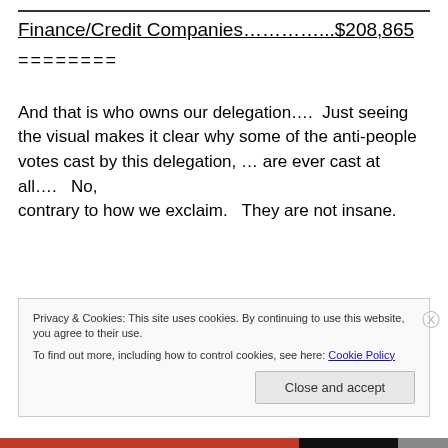Finance/Credit Companies…………...$208,865
========
And that is who owns our delegation….  Just seeing the visual makes it clear why some of the anti-people votes cast by this delegation, … are ever cast at all….   No, contrary to how we exclaim.   They are not insane.  They
Privacy & Cookies: This site uses cookies. By continuing to use this website, you agree to their use.
To find out more, including how to control cookies, see here: Cookie Policy
Close and accept